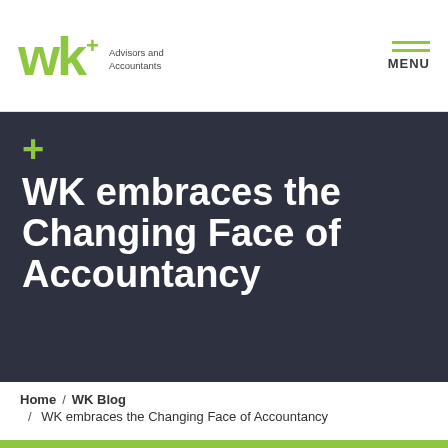wk+ Advisors and Accountants | MENU
WK embraces the Changing Face of Accountancy
Home / WK Blog / WK embraces the Changing Face of Accountancy
There are a number of major benefits for small businesses: